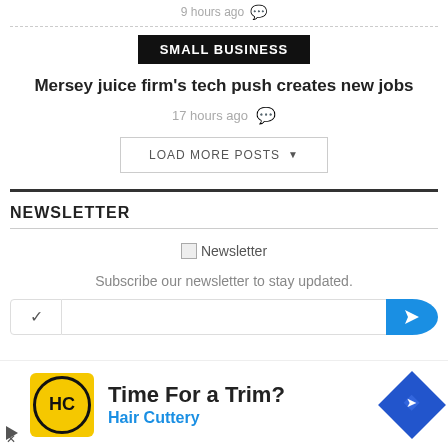9 hours ago 💬
SMALL BUSINESS
Mersey juice firm's tech push creates new jobs
17 hours ago 💬
LOAD MORE POSTS
NEWSLETTER
[Figure (illustration): Newsletter icon placeholder image]
Subscribe our newsletter to stay updated.
[Figure (screenshot): Email subscription input row with dropdown, email field, and blue submit button]
[Figure (other): Advertisement banner: Hair Cuttery - Time For a Trim? with HC logo and blue diamond arrow badge]